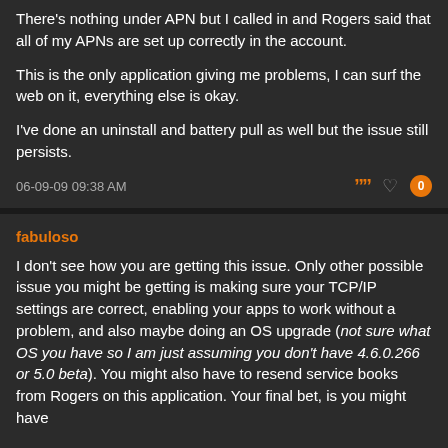There's nothing under APN but I called in and Rogers said that all of my APNs are set up correctly in the account.

This is the only application giving me problems, I can surf the web on it, everything else is okay.

I've done an uninstall and battery pull as well but the issue still persists.
06-09-09 09:38 AM
fabuloso
I don't see how you are getting this issue. Only other possible issue you might be getting is making sure your TCP/IP settings are correct, enabling your apps to work without a problem, and also maybe doing an OS upgrade (not sure what OS you have so I am just assuming you don't have 4.6.0.266 or 5.0 beta). You might also have to resend service books from Rogers on this application. Your final bet, is you might have